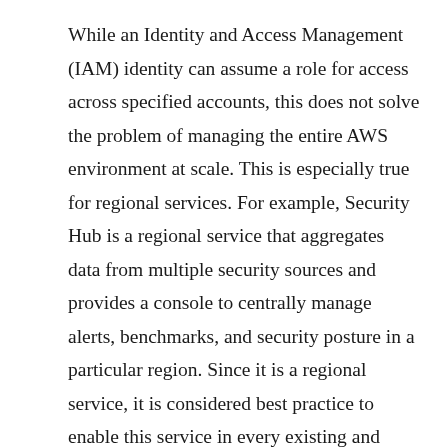While an Identity and Access Management (IAM) identity can assume a role for access across specified accounts, this does not solve the problem of managing the entire AWS environment at scale. This is especially true for regional services. For example, Security Hub is a regional service that aggregates data from multiple security sources and provides a console to centrally manage alerts, benchmarks, and security posture in a particular region. Since it is a regional service, it is considered best practice to enable this service in every existing and future region utilized by a company. If an organization owns 3 AWS accounts with services in 5 regions, they have 15 individual instances of Security Hub. One can quickly see how this kind of architecture is difficult to scale, manage, and automate. Fortunately, AWS